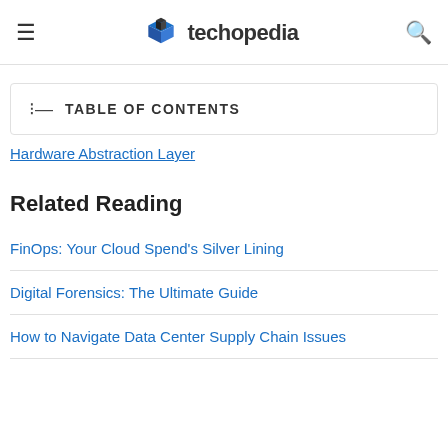techopedia
TABLE OF CONTENTS
Hardware Abstraction Layer
Related Reading
FinOps: Your Cloud Spend's Silver Lining
Digital Forensics: The Ultimate Guide
How to Navigate Data Center Supply Chain Issues